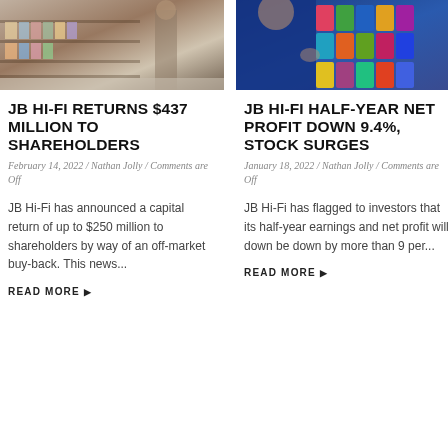[Figure (photo): Interior of a retail store with shelves of products, person visible in background]
[Figure (photo): Person in a blue suit near a display of gift cards or electronic game cards]
JB HI-FI RETURNS $437 MILLION TO SHAREHOLDERS
February 14, 2022 / Nathan Jolly / Comments are Off
JB Hi-Fi has announced a capital return of up to $250 million to shareholders by way of an off-market buy-back. This news...
READ MORE
JB HI-FI HALF-YEAR NET PROFIT DOWN 9.4%, STOCK SURGES
January 18, 2022 / Nathan Jolly / Comments are Off
JB Hi-Fi has flagged to investors that its half-year earnings and net profit will down be down by more than 9 per...
READ MORE